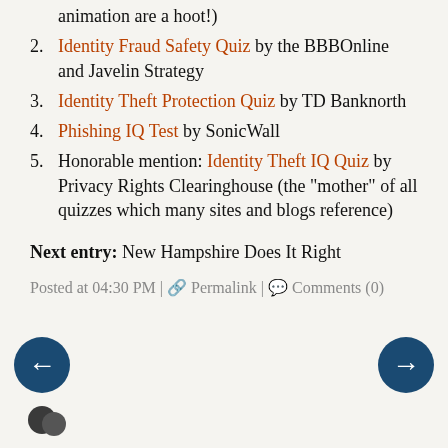animation are a hoot!)
2. Identity Fraud Safety Quiz by the BBBOnline and Javelin Strategy
3. Identity Theft Protection Quiz by TD Banknorth
4. Phishing IQ Test by SonicWall
5. Honorable mention: Identity Theft IQ Quiz by Privacy Rights Clearinghouse (the "mother" of all quizzes which many sites and blogs reference)
Next entry: New Hampshire Does It Right
Posted at 04:30 PM | Permalink | Comments (0)